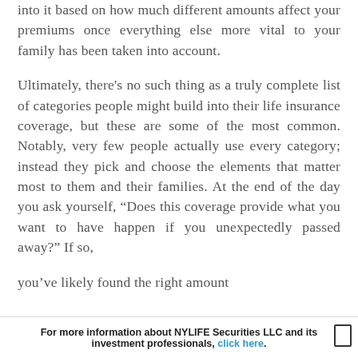into it based on how much different amounts affect your premiums once everything else more vital to your family has been taken into account. Ultimately, there's no such thing as a truly complete list of categories people might build into their life insurance coverage, but these are some of the most common. Notably, very few people actually use every category; instead they pick and choose the elements that matter most to them and their families. At the end of the day you ask yourself, "Does this coverage provide what you want to have happen if you unexpectedly passed away?" If so, you've likely found the right amount.
For more information about NYLIFE Securities LLC and its investment professionals, click here.